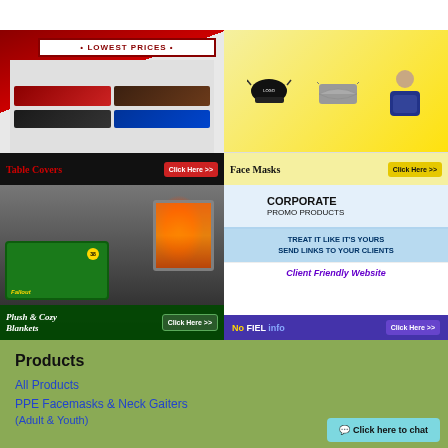[Figure (illustration): Advertisement for Table Covers with 'LOWEST PRICES' banner, table cover product images, red diagonal design, red label 'TABLE COVERS' and 'CLICK HERE >>' button]
[Figure (illustration): Advertisement for Face Masks with yellow background, images of black face mask, disposable mask, and neck gaiter with man wearing gaiter, label 'FACE MASKS' and yellow 'CLICK HERE >>' button]
[Figure (illustration): Advertisement for Plush & Cozy Blankets with dark fireplace scene, green gaming table (Fallout branded), label 'PLUSH & COZY BLANKETS' and 'CLICK HERE >>' button]
[Figure (illustration): Corporate Promo Products advertisement with blue C logo, text 'TREAT IT LIKE IT IS YOURS SEND LINKS TO YOUR CLIENTS', 'CLIENT FRIENDLY WEBSITE', 'NO FIEL INFO' and 'CLICK HERE >>' button]
Products
All Products
PPE Facemasks & Neck Gaiters
(Adult & Youth)